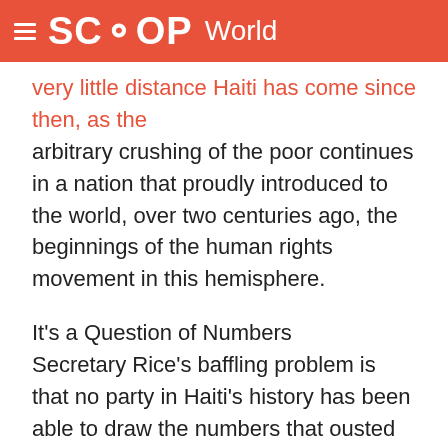SCOOP World
very little distance Haiti has come since then, as the arbitrary crushing of the poor continues in a nation that proudly introduced to the world, over two centuries ago, the beginnings of the human rights movement in this hemisphere.
It's a Question of Numbers
Secretary Rice's baffling problem is that no party in Haiti's history has been able to draw the numbers that ousted President Jean-Bertrand Aristide's Lavalas party has been able to attract. Nothing that the State Department can do seems to lessen those numbers. From gaining 67.5% of the electorate in 1990, every